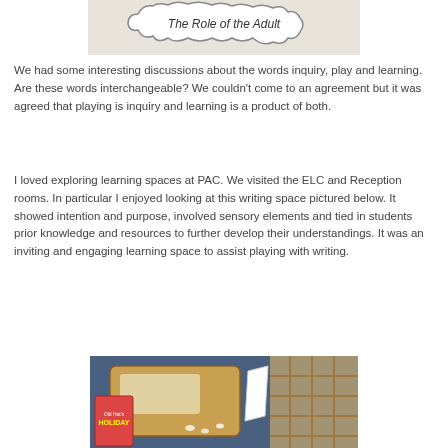[Figure (photo): A handwritten note inside a cloud-shaped border reading 'The Role of the Adult']
We had some interesting discussions about the words inquiry, play and learning. Are these words interchangeable? We couldn't come to an agreement but it was agreed that playing is inquiry and learning is a product of both.
I loved exploring learning spaces at PAC. We visited the ELC and Reception rooms. In particular I enjoyed looking at this writing space pictured below. It showed intention and purpose, involved sensory elements and tied in students prior knowledge and resources to further develop their understandings. It was an inviting and engaging learning space to assist playing with writing.
[Figure (photo): A writing learning space showing a wicker basket/tray with sand, a children's book titled 'Old Hat's HOLIDAY', shells, and a latticed wooden structure with white paper, set against a blue fabric background.]